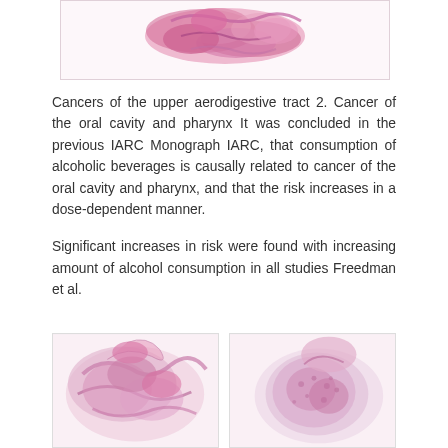[Figure (photo): Histological image of tissue sample, pink/magenta stained, top of page]
Cancers of the upper aerodigestive tract 2. Cancer of the oral cavity and pharynx It was concluded in the previous IARC Monograph IARC, that consumption of alcoholic beverages is causally related to cancer of the oral cavity and pharynx, and that the risk increases in a dose-dependent manner.
Significant increases in risk were found with increasing amount of alcohol consumption in all studies Freedman et al.
[Figure (photo): Left: Histological tissue slide, pink/purple stained cancer tissue]
[Figure (photo): Right: Histological tissue slide, pink/purple stained cancer tissue]